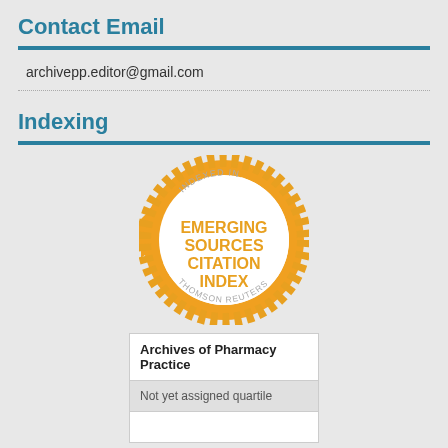Contact Email
archivepp.editor@gmail.com
Indexing
[Figure (logo): Badge/seal reading 'INDEXED IN EMERGING SOURCES CITATION INDEX THOMSON REUTERS' in orange and white]
| Archives of Pharmacy Practice |
| Not yet assigned quartile |
|  |